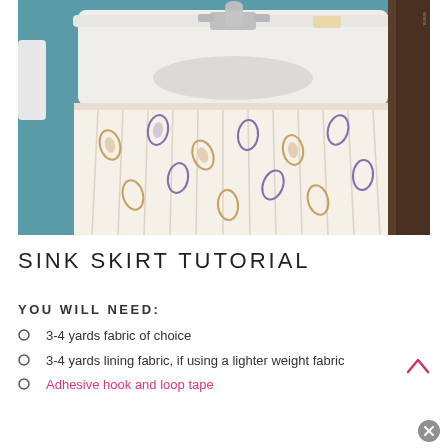[Figure (photo): A bathroom pedestal sink covered with a gathered fabric skirt in a white paisley/floral print with brown and purple/blue motifs. The sink has silver faucet hardware. The wall behind is painted teal/blue. The skirt hangs from beneath the sink basin to the floor.]
SINK SKIRT TUTORIAL
YOU WILL NEED:
3-4 yards fabric of choice
3-4 yards lining fabric, if using a lighter weight fabric
Adhesive hook and loop tape